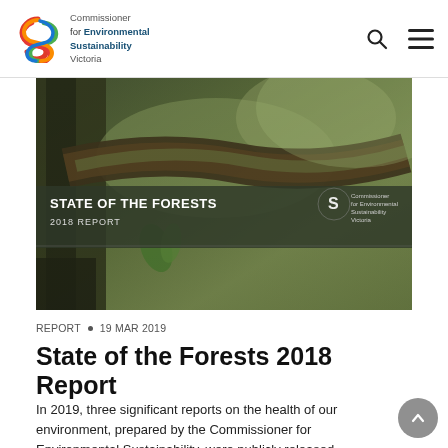Commissioner for Environmental Sustainability Victoria
[Figure (photo): Photograph of a mossy tree branch with small green shoots, overlaid with a dark banner reading 'STATE OF THE FORESTS 2018 REPORT' and the Commissioner for Environmental Sustainability Victoria logo]
REPORT • 19 MAR 2019
State of the Forests 2018 Report
In 2019, three significant reports on the health of our environment, prepared by the Commissioner for Environmental Sustainability, were publicly released